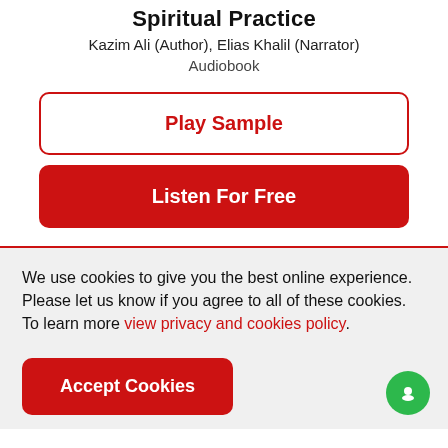Spiritual Practice
Kazim Ali (Author), Elias Khalil (Narrator)
Audiobook
Play Sample
Listen For Free
We use cookies to give you the best online experience. Please let us know if you agree to all of these cookies. To learn more view privacy and cookies policy.
Accept Cookies